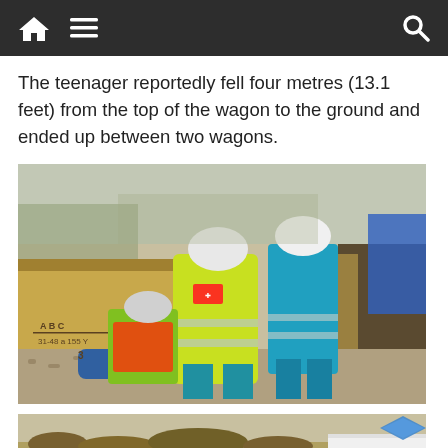Navigation bar with home, menu, and search icons
The teenager reportedly fell four metres (13.1 feet) from the top of the wagon to the ground and ended up between two wagons.
[Figure (photo): Emergency responders in high-visibility yellow and blue uniforms with helmets attending to an injured person between two freight train wagons on a railway track. The wagons are painted yellow/tan. Text on wagon reads A B C 31-48 a 155 Y 3.]
[Figure (photo): Partial view of a second photo showing dry scrubland/brush terrain with an ambulance (ANCIA visible) and a blue diamond-shaped logo in the upper right corner.]